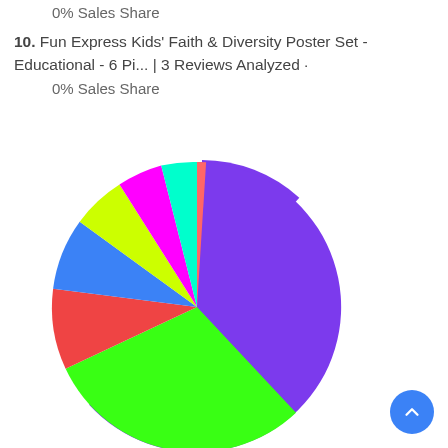0% Sales Share
10. Fun Express Kids' Faith & Diversity Poster Set - Educational - 6 Pi... | 3 Reviews Analyzed · 0% Sales Share
[Figure (pie-chart): Sales Share Pie Chart]